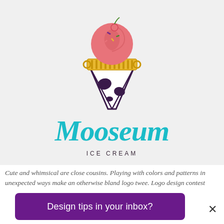[Figure (logo): Mooseum Ice Cream logo: ice cream cone with pink soft-serve scoop, gold classical column base, white cone body with dark cow-spot patterns, teal handwritten 'Mooseum' wordmark, 'ICE CREAM' in small spaced dark capitals below]
Cute and whimsical are close cousins. Playing with colors and patterns in unexpected ways make an otherwise bland logo twee. Logo design contest
Design tips in your inbox?